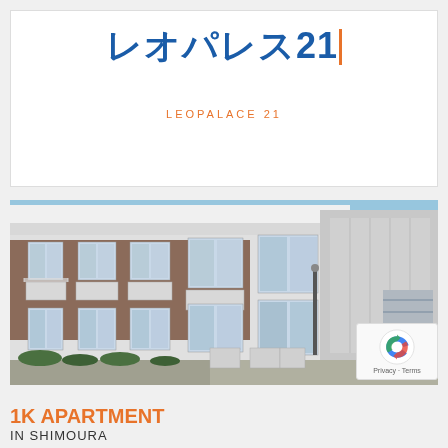レオパレス21
LEOPALACE 21
[Figure (photo): Exterior photo of a two-story apartment building with brick and gray facade, balconies, and air conditioning units. Clear blue sky in the background.]
[Figure (logo): reCAPTCHA badge with Privacy and Terms text]
1K APARTMENT
IN SHIMOURA